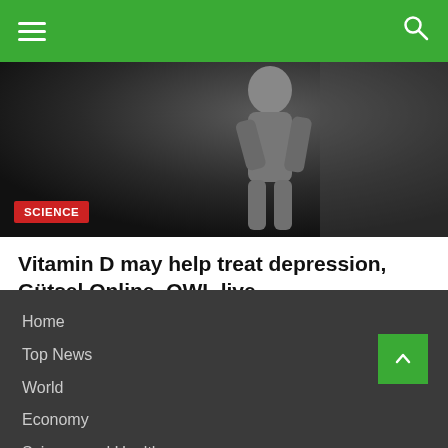Navigation bar with hamburger menu and search icon
[Figure (photo): Dark grayscale photo of a person (silhouette/figure) with a red SCIENCE category badge overlaid at the bottom left]
Vitamin D may help treat depression, Gütsel Online, OWL live
August 21, 2022 / Faye Stephens
Home
Top News
World
Economy
Science and Health
Technology